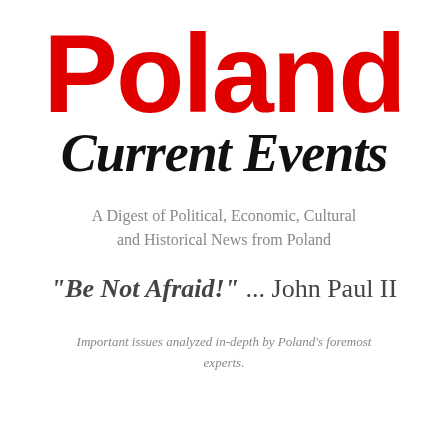Poland
Current Events
A Digest of Political, Economic, Cultural and Historical News from Poland
"Be Not Afraid!" ... John Paul II
Important issues analyzed in-depth by Poland's foremost experts.